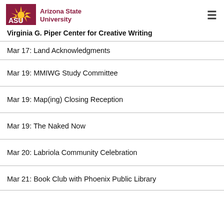Arizona State University — Virginia G. Piper Center for Creative Writing
Mar 17: Land Acknowledgments
Mar 19: MMIWG Study Committee
Mar 19: Map(ing) Closing Reception
Mar 19: The Naked Now
Mar 20: Labriola Community Celebration
Mar 21: Book Club with Phoenix Public Library